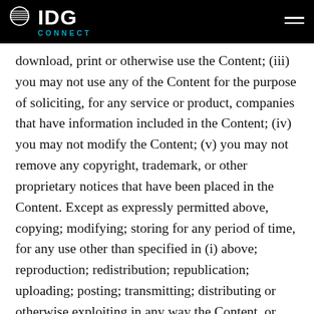IDG CONNECT
download, print or otherwise use the Content; (iii) you may not use any of the Content for the purpose of soliciting, for any service or product, companies that have information included in the Content; (iv) you may not modify the Content; (v) you may not remove any copyright, trademark, or other proprietary notices that have been placed in the Content. Except as expressly permitted above, copying; modifying; storing for any period of time, for any use other than specified in (i) above; reproduction; redistribution; republication; uploading; posting; transmitting; distributing or otherwise exploiting in any way the Content, or any portion of the Content, is strictly prohibited without the